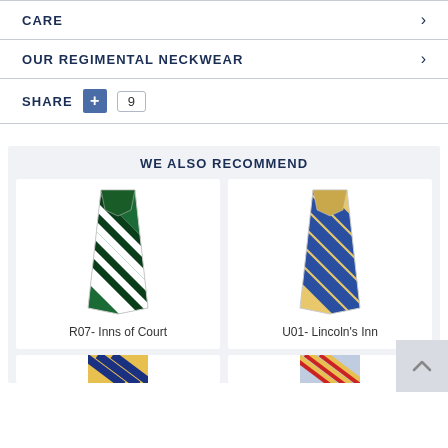CARE
OUR REGIMENTAL NECKWEAR
SHARE  +  9
WE ALSO RECOMMEND
[Figure (photo): Green and white striped regimental necktie folded, product R07- Inns of Court]
R07- Inns of Court
[Figure (photo): Yellow and blue striped regimental necktie folded, product U01- Lincoln's Inn]
U01- Lincoln's Inn